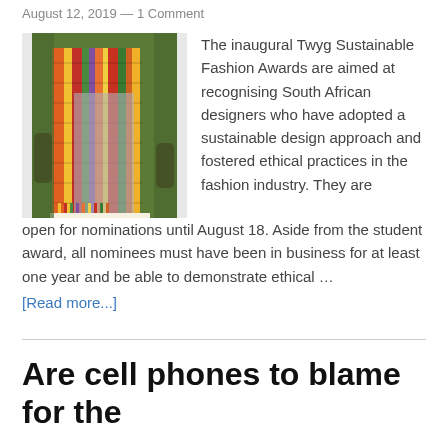August 12, 2019 — 1 Comment
[Figure (photo): A person wearing a colorful woven textile/coat with stripes of green, orange, red, and yellow patterns.]
The inaugural Twyg Sustainable Fashion Awards are aimed at recognising South African designers who have adopted a sustainable design approach and fostered ethical practices in the fashion industry. They are open for nominations until August 18. Aside from the student award, all nominees must have been in business for at least one year and be able to demonstrate ethical …
[Read more...]
Are cell phones to blame for the